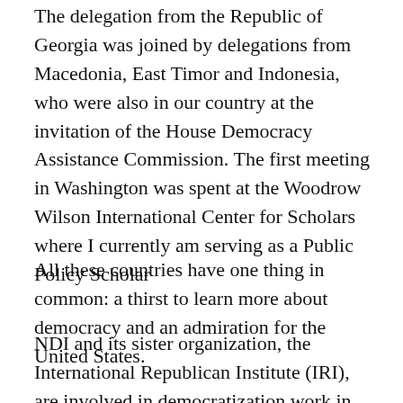The delegation from the Republic of Georgia was joined by delegations from Macedonia, East Timor and Indonesia, who were also in our country at the invitation of the House Democracy Assistance Commission. The first meeting in Washington was spent at the Woodrow Wilson International Center for Scholars where I currently am serving as a Public Policy Scholar
All these countries have one thing in common: a thirst to learn more about democracy and an admiration for the United States.
NDI and its sister organization, the International Republican Institute (IRI), are involved in democratization work in these and other countries on grants from our state department.